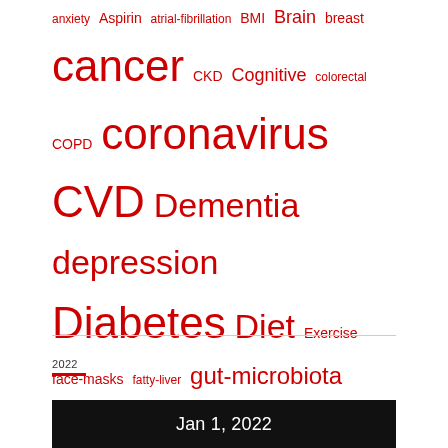anxiety Aspirin atrial-fibrillation BMI Brain breast cancer CKD Cognitive colorectal COPD coronavirus CVD Dementia depression Diabetes Diet Exercise face-masks fatty-liver gut-microbiota Heart Failure Hypertension microbiome mortality NAFLD Obese Obesity Osteoarthritis physical-activity Pollution sleep Smoke Statins Stress stroke Thrombosis Vaccines Vitamin D
2022
Jan 1, 2022